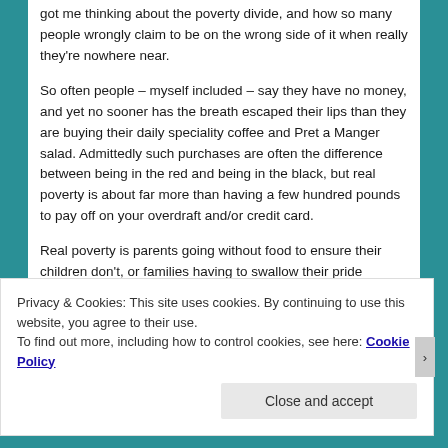got me thinking about the poverty divide, and how so many people wrongly claim to be on the wrong side of it when really they're nowhere near.
So often people – myself included – say they have no money, and yet no sooner has the breath escaped their lips than they are buying their daily speciality coffee and Pret a Manger salad. Admittedly such purchases are often the difference between being in the red and being in the black, but real poverty is about far more than having a few hundred pounds to pay off on your overdraft and/or credit card.
Real poverty is parents going without food to ensure their children don't, or families having to swallow their pride
Privacy & Cookies: This site uses cookies. By continuing to use this website, you agree to their use.
To find out more, including how to control cookies, see here: Cookie Policy